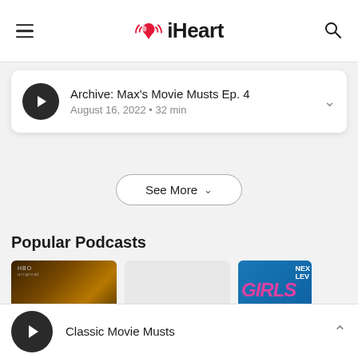iHeart
Archive: Max's Movie Musts Ep. 4
August 16, 2022 • 32 min
See More
Popular Podcasts
[Figure (screenshot): Three podcast thumbnail images: HBO original show art, blank/loading thumbnail, and Girls Next Level podcast cover]
Classic Movie Musts